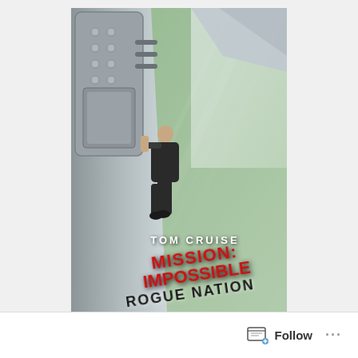[Figure (photo): Movie poster for 'Mission: Impossible – Rogue Nation' featuring Tom Cruise hanging from the side of an airplane door in a suit, with ground visible below and the title text reading TOM CRUISE MISSION: IMPOSSIBLE ROGUE NATION in red and black bold letters on a dramatic aerial background.]
Follow ...